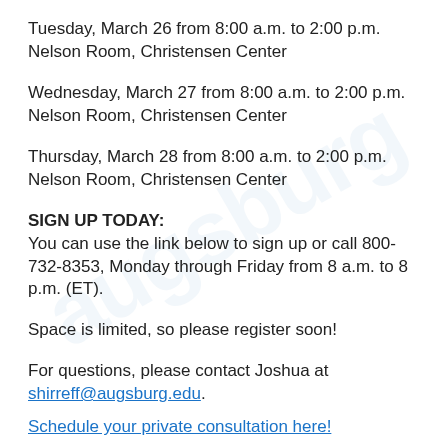Tuesday, March 26 from 8:00 a.m. to 2:00 p.m.
Nelson Room, Christensen Center
Wednesday, March 27 from 8:00 a.m. to 2:00 p.m.
Nelson Room, Christensen Center
Thursday, March 28 from 8:00 a.m. to 2:00 p.m.
Nelson Room, Christensen Center
SIGN UP TODAY:
You can use the link below to sign up or call 800-732-8353, Monday through Friday from 8 a.m. to 8 p.m. (ET).
Space is limited, so please register soon!
For questions, please contact Joshua at shirreff@augsburg.edu.
Schedule your private consultation here!